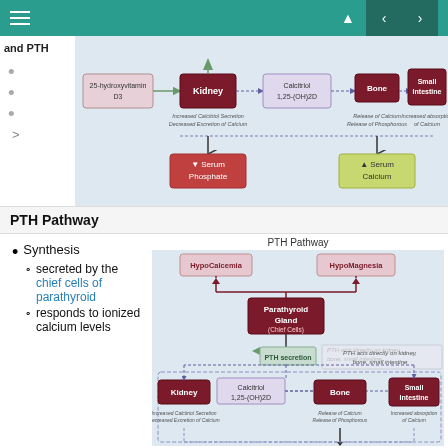Navigation header with hamburger menu and navigation arrows
[Figure (flowchart): Partial diagram showing top of vitamin D / PTH pathway: 25-hydroxyvitamin D3 → Kidney → Calcitriol 1,25-(OH)2D → Bone (Release of Calcium, Release of Phosphorous) and Small Intestine (Increased absorption of Calcium) → Serum Phosphate (down arrow) and Serum Calcium (up arrow). Increased Calcitriol Secretion, Decreased Excretion of Calcium noted below Kidney.]
PTH Pathway
Synthesis
secreted by the chief cells of parathyroid
responds to ionized calcium levels
[Figure (flowchart): PTH Pathway diagram: HypoCalcemia and HypoMagnesia (both with down arrows) → Parathyroid Gland (Chief Cells) → PTH secretion (green up arrow) → note: PTH acts directly on kidney, bone, small intestine. Then → Kidney → Calcitriol 1,25-(OH)2D → Bone and Small Intestine. Kidney: Increased Calcitriol Secretion, Decreased Excretion of Calcium. Bone: Release of Calcium, Release of Phosphorous. Small Intestine: Increased absorption of Calcium. Arrows continue downward at bottom.]
PTH Pathway